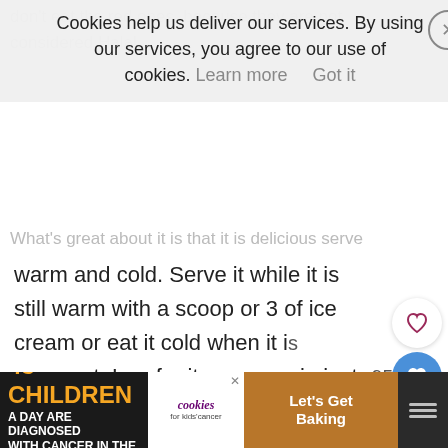don't eat the red ones, because they are not considered Halal.
Cookies help us deliver our services. By using our services, you agree to our use of cookies. Learn more   Got it
What's great about it is that it is delicious served warm and cold. Serve it while it is still warm with a scoop or 3 of ice cream or eat it cold when it is more set. I prefer it warm..as in just out of the oven.
Either way, it will be gone fast.
pizookie?
[Figure (screenshot): WHAT'S NEXT arrow with Mini Egg Cookie Dough thumbnail]
[Figure (infographic): Advertisement banner: 43 CHILDREN A Day Are Diagnosed With Cancer in the U.S. / cookies for kids cancer / Let's Get Baking]